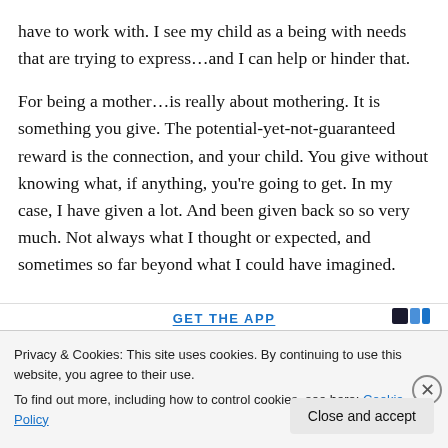have to work with. I see my child as a being with needs that are trying to express…and I can help or hinder that.
For being a mother…is really about mothering. It is something you give. The potential-yet-not-guaranteed reward is the connection, and your child. You give without knowing what, if anything, you're going to get. In my case, I have given a lot. And been given back so so very much. Not always what I thought or expected, and sometimes so far beyond what I could have imagined.
Privacy & Cookies: This site uses cookies. By continuing to use this website, you agree to their use. To find out more, including how to control cookies, see here: Cookie Policy
Close and accept